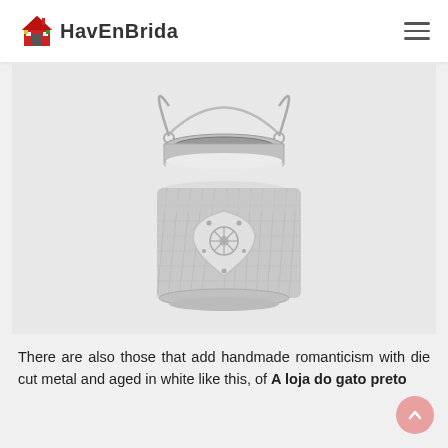HavEnBrida
[Figure (photo): A decorative metal lantern in white/grey tones with mesh sides, heart-shaped cutout decoration with floral pattern, and a wire hanging handle. Product photo on light grey background.]
There are also those that add handmade romanticism with die cut metal and aged in white like this, of A loja do gato preto